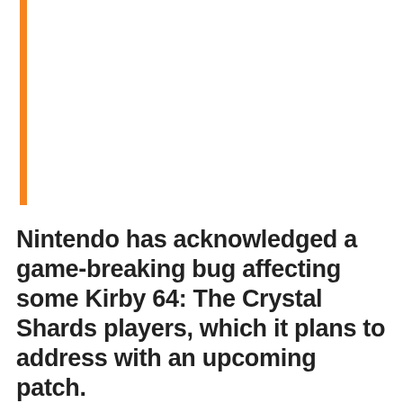Nintendo has acknowledged a game-breaking bug affecting some Kirby 64: The Crystal Shards players, which it plans to address with an upcoming patch.
Switch Online's 15th and latest N64 release hit the service last week and users quickly began reporting a major bug which is soft locking players during gameplay.
ADVERTISEMENT